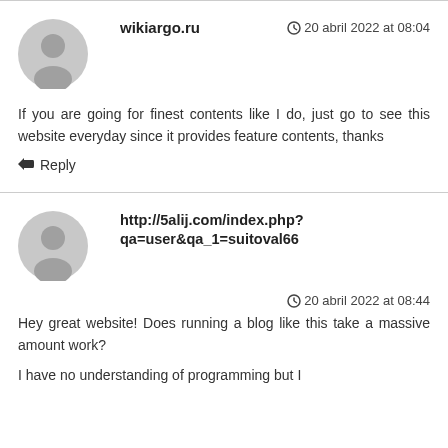wikiargo.ru
20 abril 2022 at 08:04
If you are going for finest contents like I do, just go to see this website everyday since it provides feature contents, thanks
Reply
http://5alij.com/index.php?qa=user&qa_1=suitoval66
20 abril 2022 at 08:44
Hey great website! Does running a blog like this take a massive amount work?
I have no understanding of programming but I